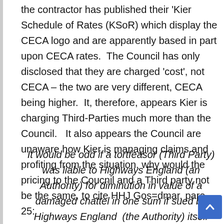the contractor has published their 'Kier Schedule of Rates (KSoR) which display the CECA logo and are apparently based in part upon CECA rates.  The Council has only disclosed that they are charged 'cost', not CECA – the two are very different, CECA being higher.  It, therefore, appears Kier is charging Third-Parties much more than the Council.   It also appears the Council are unaware how Kier is managing claims and profiting from the situation. why would the pricing to the Coucnil and a Third party not be the same, to cite HHJ Gos=dmar, para 25:
It would be odd if a tortfeasor (Third Party) was liable to Highways England (an Authority) for diminution in value of a damaged chattel in one sum if sued by Highways England  (the Authority) itself